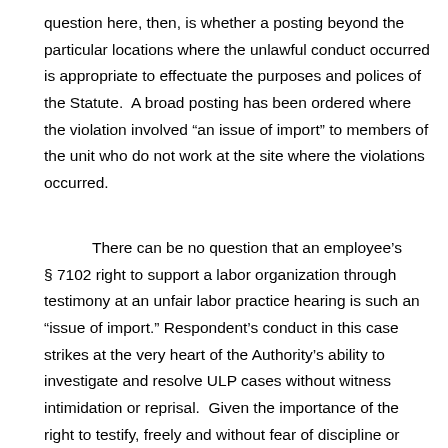question here, then, is whether a posting beyond the particular locations where the unlawful conduct occurred is appropriate to effectuate the purposes and polices of the Statute.  A broad posting has been ordered where the violation involved “an issue of import” to members of the unit who do not work at the site where the violations occurred.
There can be no question that an employee’s § 7102 right to support a labor organization through testimony at an unfair labor practice hearing is such an “issue of import.” Respondent’s conduct in this case strikes at the very heart of the Authority’s ability to investigate and resolve ULP cases without witness intimidation or reprisal.  Given the importance of the right to testify, freely and without fear of discipline or interference, a unit-wide posting is appropriate in this case.  The signatory for the Notice should be Daniel